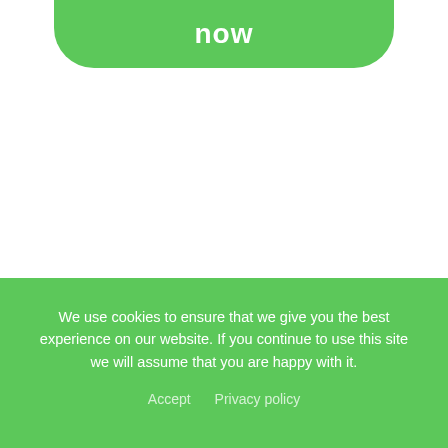[Figure (screenshot): Green rounded button showing the word 'now' in white text, partially visible at the top of the page (bottom half of the button).]
We use cookies to ensure that we give you the best experience on our website. If you continue to use this site we will assume that you are happy with it.
Accept   Privacy policy